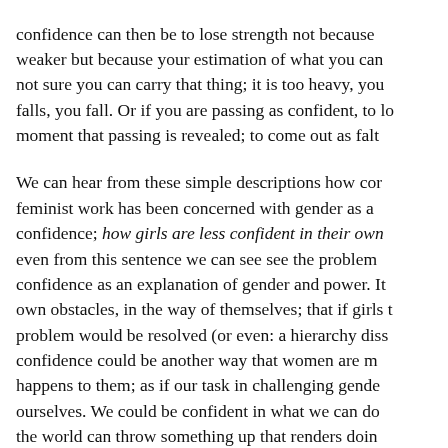confidence can then be to lose strength not because weaker but because your estimation of what you can not sure you can carry that thing; it is too heavy, you falls, you fall. Or if you are passing as confident, to lo moment that passing is revealed; to come out as falt
We can hear from these simple descriptions how cor feminist work has been concerned with gender as a confidence; how girls are less confident in their own even from this sentence we can see see the problem confidence as an explanation of gender and power. It own obstacles, in the way of themselves; that if girls problem would be resolved (or even: a hierarchy diss confidence could be another way that women are m happens to them; as if our task in challenging gende ourselves. We could be confident in what we can do the world can throw something up that renders doin possibility is not dependent on confidence alone, eve make something impossible that might otherwise h